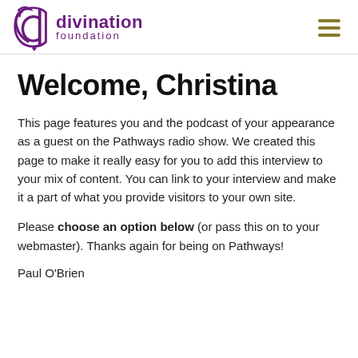divination foundation
Welcome, Christina
This page features you and the podcast of your appearance as a guest on the Pathways radio show. We created this page to make it really easy for you to add this interview to your mix of content. You can link to your interview and make it a part of what you provide visitors to your own site.
Please choose an option below (or pass this on to your webmaster). Thanks again for being on Pathways!
Paul O'Brien